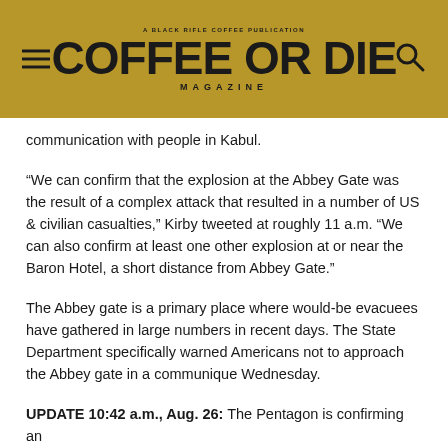COFFEE OR DIE MAGAZINE
communication with people in Kabul.
“We can confirm that the explosion at the Abbey Gate was the result of a complex attack that resulted in a number of US & civilian casualties,” Kirby tweeted at roughly 11 a.m. “We can also confirm at least one other explosion at or near the Baron Hotel, a short distance from Abbey Gate.”
The Abbey gate is a primary place where would-be evacuees have gathered in large numbers in recent days. The State Department specifically warned Americans not to approach the Abbey gate in a communique Wednesday.
UPDATE 10:42 a.m., Aug. 26: The Pentagon is confirming an